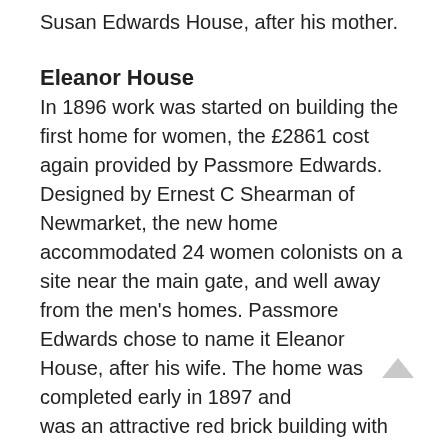Susan Edwards House, after his mother.
Eleanor House
In 1896 work was started on building the first home for women, the £2861 cost again provided by Passmore Edwards. Designed by Ernest C Shearman of Newmarket, the new home accommodated 24 women colonists on a site near the main gate, and well away from the men's homes. Passmore Edwards chose to name it Eleanor House, after his wife. The home was completed early in 1897 and was an attractive red brick building with